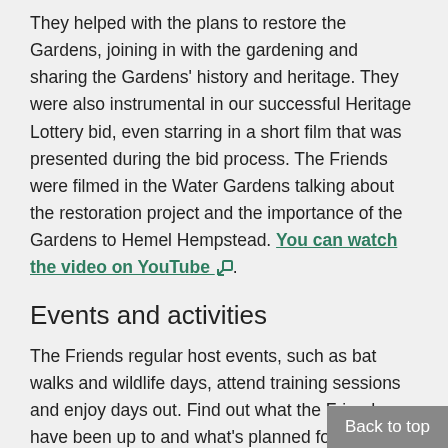They helped with the plans to restore the Gardens, joining in with the gardening and sharing the Gardens' history and heritage. They were also instrumental in our successful Heritage Lottery bid, even starring in a short film that was presented during the bid process. The Friends were filmed in the Water Gardens talking about the restoration project and the importance of the Gardens to Hemel Hempstead. You can watch the video on YouTube [external link].
Events and activities
The Friends regular host events, such as bat walks and wildlife days, attend training sessions and enjoy days out. Find out what the Friends have been up to and what's planned for the future by visiting their Facebook page [external link].
Find out more and how to join
For more information or to join the group (all
Back to top